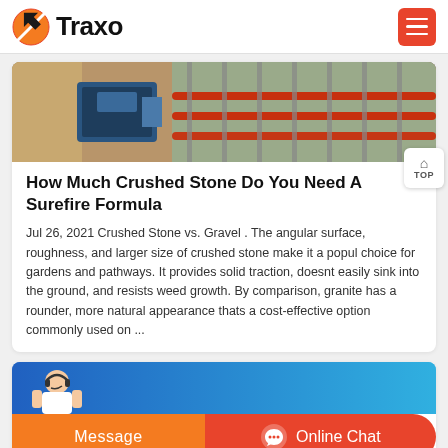Traxo
[Figure (photo): Construction site with machinery, steel reinforcement bars, and blue industrial equipment]
How Much Crushed Stone Do You Need A Surefire Formula
Jul 26, 2021 Crushed Stone vs. Gravel . The angular surface, roughness, and larger size of crushed stone make it a popul choice for gardens and pathways. It provides solid traction, doesnt easily sink into the ground, and resists weed growth. By comparison, granite has a rounder, more natural appearance thats a cost-effective option commonly used on ...
[Figure (photo): Customer service representative with headset, blue and orange background]
Message
Online Chat